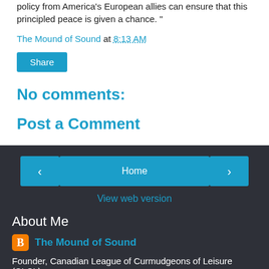policy from America's European allies can ensure that this principled peace is given a chance. "
The Mound of Sound at 8:13 AM
Share
No comments:
Post a Comment
Home
View web version
About Me
The Mound of Sound
Founder, Canadian League of Curmudgeons of Leisure (CLCL)
View my complete profile